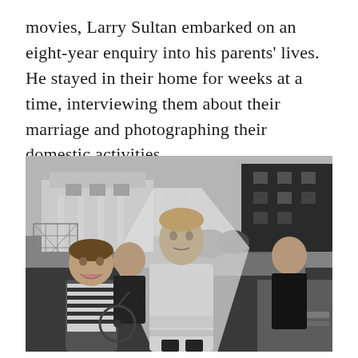movies, Larry Sultan embarked on an eight-year enquiry into his parents' lives. He stayed in their home for weeks at a time, interviewing them about their marriage and photographing their domestic activities.
[Figure (photo): Black and white photograph of children on a street. A child in the center wears a bridal veil and white lace dress, looking upward. Another child in a striped shirt stands to the left grinning, and another child in a dark jacket stands to the right. Buildings and a chain-link fence are visible in the background.]